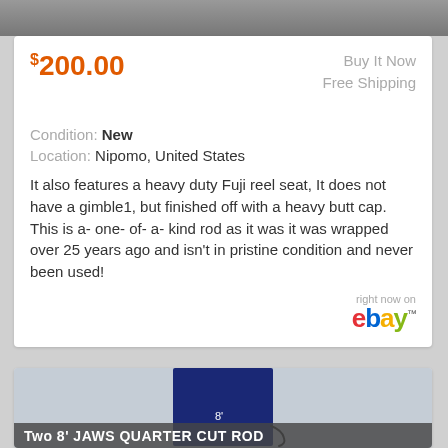[Figure (photo): Top cropped image strip showing partial product photo]
$200.00
Buy It Now
Free Shipping
Condition: New
Location: Nipomo, United States
It also features a heavy duty Fuji reel seat, It does not have a gimble1, but finished off with a heavy butt cap. This is a- one- of- a- kind rod as it was it was wrapped over 25 years ago and isn't in pristine condition and never been used!
[Figure (logo): eBay logo with 'right now on' text above]
[Figure (photo): Photo of a navy blue rod bag with '8'' label, with overlay text 'Two 8' JAWS QUARTER CUT ROD']